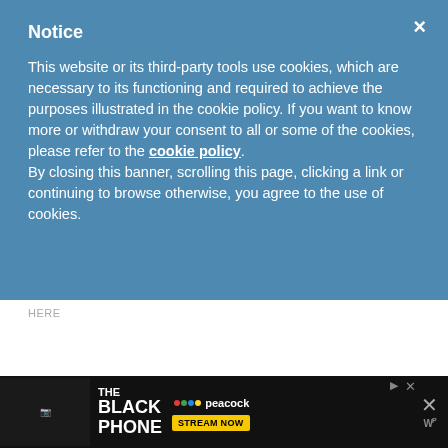Notice
This website or its third-party tools use cookies, which are necessary to its functioning and required to achieve the purposes illustrated in the cookie policy. If you want to know more or withdraw your consent to all or some of the cookies, please refer to the cookie policy.
By closing this banner, scrolling this page, clicking a link or continuing to browse otherwise, you agree to the use of cookies.
HERE
Kay
[Figure (screenshot): Advertisement banner for 'The Black Phone' on Peacock streaming service with 'Stream Now' button]